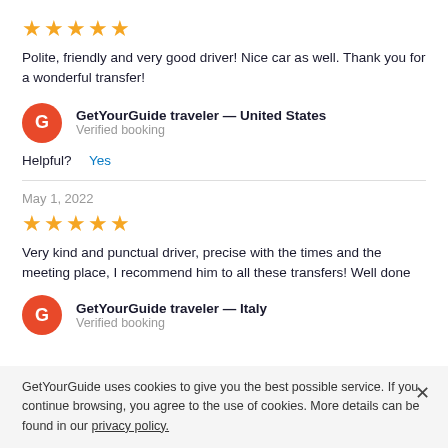[Figure (other): Five gold star rating icons]
Polite, friendly and very good driver! Nice car as well. Thank you for a wonderful transfer!
GetYourGuide traveler — United States
Verified booking
Helpful? Yes
May 1, 2022
[Figure (other): Five gold star rating icons]
Very kind and punctual driver, precise with the times and the meeting place, I recommend him to all these transfers! Well done
GetYourGuide traveler — Italy
Verified booking
GetYourGuide uses cookies to give you the best possible service. If you continue browsing, you agree to the use of cookies. More details can be found in our privacy policy.